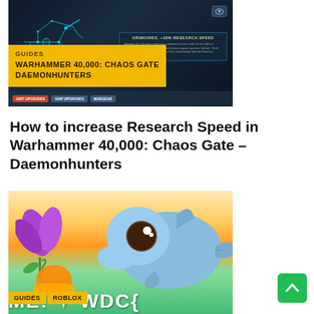[Figure (screenshot): Game screenshot from Warhammer 40,000: Chaos Gate – Daemonhunters showing a ship/unit graphic with cyan circuit-line art on dark background, and a HUD panel showing 'GRIMOIRES: +30% RESEARCH SPEED' with descriptive text. Bottom bar shows game UI elements. Overlaid yellow badge with 'GUIDES' and 'WARHAMMER 40,000: CHAOS GATE DAEMONHUNTERS' text.]
How to increase Research Speed in Warhammer 40,000: Chaos Gate – Daemonhunters
[Figure (screenshot): Colorful game screenshot from Roblox featuring a cute blue dolphin/animal character with big brown eyes surrounded by bright tropical flowers and plants in purple, orange, yellow, green. Bottom has yellow badges reading 'GUIDES' and 'ROBLOX', and large white text partially visible reading 'ME! + WDC{'. Green scroll-to-top button visible at bottom right.]